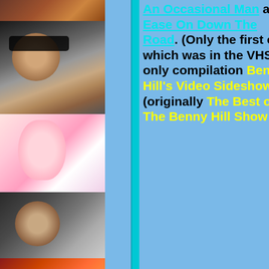[Figure (photo): Photo strip of 8 photos of various people including Benny Hill characters and show performers]
An Occasional Man and Ease On Down The Road. (Only the first of which was in the VHS-only compilation Benny Hill's Video Sideshow (originally The Best of The Benny Hill Show -